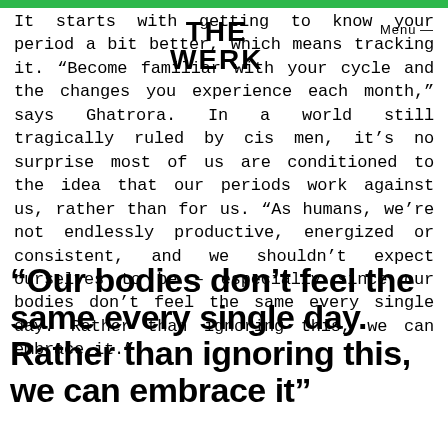[Figure (logo): THE WERK logo in bold black text overlaid on the page header area]
Menu —
It starts with getting to know your period a bit better, which means tracking it. “Become familiar with your cycle and the changes you experience each month,” says Ghatrora. In a world still tragically ruled by cis men, it’s no surprise most of us are conditioned to the idea that our periods work against us, rather than for us. “As humans, we’re not endlessly productive, energized or consistent, and we shouldn’t expect ourselves to be – especially since our bodies don’t feel the same every single day. Rather than ignoring this, we can embrace it.”
“Our bodies don’t feel the same every single day. Rather than ignoring this, we can embrace it”